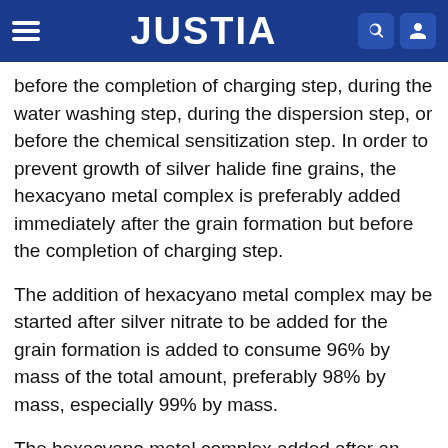JUSTIA
before the completion of charging step, during the water washing step, during the dispersion step, or before the chemical sensitization step. In order to prevent growth of silver halide fine grains, the hexacyano metal complex is preferably added immediately after the grain formation but before the completion of charging step.
The addition of hexacyano metal complex may be started after silver nitrate to be added for the grain formation is added to consume 96% by mass of the total amount, preferably 98% by mass, especially 99% by mass.
The hexacyano metal complex added after an aqueous silver nitrate solution is added immediately before the completion of grain formation can adsorb to the outer surface of silver halide grains and prevent f